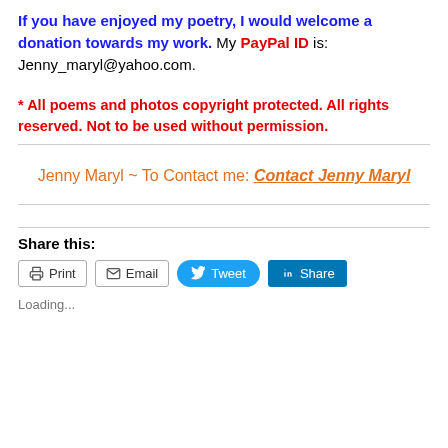If you have enjoyed my poetry, I would welcome a donation towards my work. My PayPal ID is: Jenny_maryl@yahoo.com.
* All poems and photos copyright protected. All rights reserved. Not to be used without permission.
Jenny Maryl ~ To Contact me: Contact Jenny Maryl
Share this:
Print  Email  Tweet  Share
Loading...